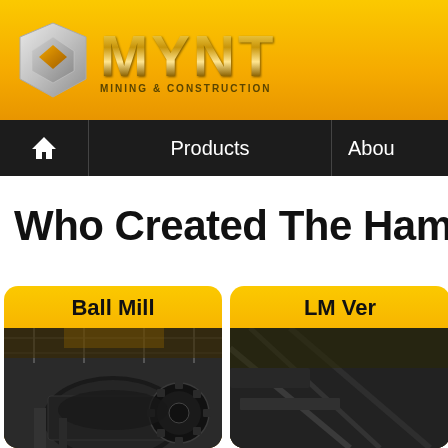[Figure (logo): MYNT Mining & Construction logo with silver 3D cube icon and golden metallic MYNT text with 'MINING & CONSTRUCTION' subtitle on yellow/amber gradient banner]
🏠  Products  |  Abou
Who Created The Hammer Mil
[Figure (photo): Ball Mill product card with yellow header and dark industrial photo showing large ball mill machinery with gears in warehouse]
[Figure (photo): LM Vertical Mill product card (partially visible, cut off) with yellow header and dark industrial photo]